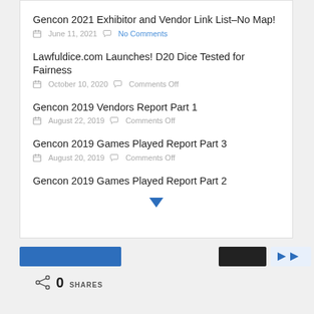Gencon 2021 Exhibitor and Vendor Link List–No Map! | June 11, 2021 | No Comments
Lawfuldice.com Launches! D20 Dice Tested for Fairness | October 10, 2020 | Comments Off
Gencon 2019 Vendors Report Part 1 | August 22, 2019 | Comments Off
Gencon 2019 Games Played Report Part 3 | August 20, 2019 | Comments Off
Gencon 2019 Games Played Report Part 2
[Figure (other): Blue down-arrow icon indicating more content below]
0 SHARES